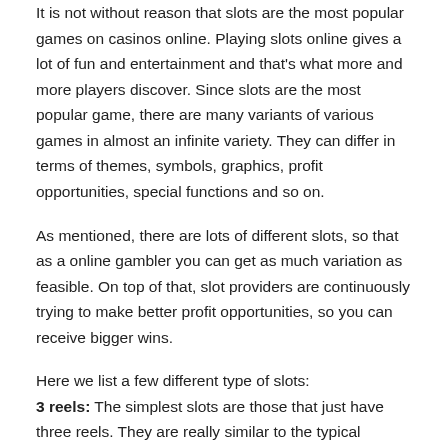It is not without reason that slots are the most popular games on casinos online. Playing slots online gives a lot of fun and entertainment and that's what more and more players discover. Since slots are the most popular game, there are many variants of various games in almost an infinite variety. They can differ in terms of themes, symbols, graphics, profit opportunities, special functions and so on.
As mentioned, there are lots of different slots, so that as a online gambler you can get as much variation as feasible. On top of that, slot providers are continuously trying to make better profit opportunities, so you can receive bigger wins.
Here we list a few different type of slots:
3 reels: The simplest slots are those that just have three reels. They are really similar to the typical mechanical one-armed bandit and are the simplest games offered. Usually they do not consist of any kind of unique symbols, yet there